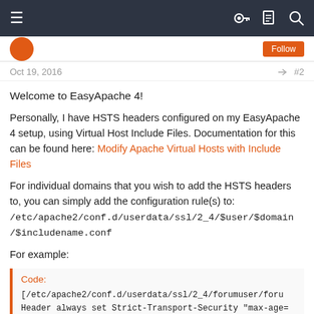Navigation bar with menu, key, document, and search icons
Oct 19, 2016  #2
Welcome to EasyApache 4!
Personally, I have HSTS headers configured on my EasyApache 4 setup, using Virtual Host Include Files. Documentation for this can be found here: Modify Apache Virtual Hosts with Include Files
For individual domains that you wish to add the HSTS headers to, you can simply add the configuration rule(s) to:
/etc/apache2/conf.d/userdata/ssl/2_4/$user/$domain/$includename.conf
For example:
Code:
[/etc/apache2/conf.d/userdata/ssl/2_4/forumuser/foru...
Header always set Strict-Transport-Security "max-age=...